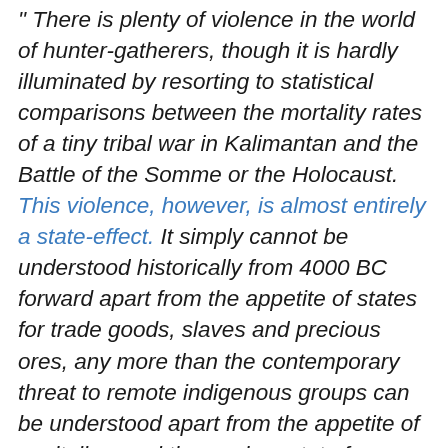" There is plenty of violence in the world of hunter-gatherers, though it is hardly illuminated by resorting to statistical comparisons between the mortality rates of a tiny tribal war in Kalimantan and the Battle of the Somme or the Holocaust. This violence, however, is almost entirely a state-effect. It simply cannot be understood historically from 4000 BC forward apart from the appetite of states for trade goods, slaves and precious ores, any more than the contemporary threat to remote indigenous groups can be understood apart from the appetite of capitalism and the modern state for rare minerals, hydroelectric sites, plantation crops and timber on the lands of these peoples. Papua New Guinea is today the scene of a particularly violent race for minerals, aided by states and their militias and, as Stuart Kirsch's Mining Capitalism shows, its indigenous politics can be understood only in this context. Contemporary hunter-gatherer life can tell us a great deal...